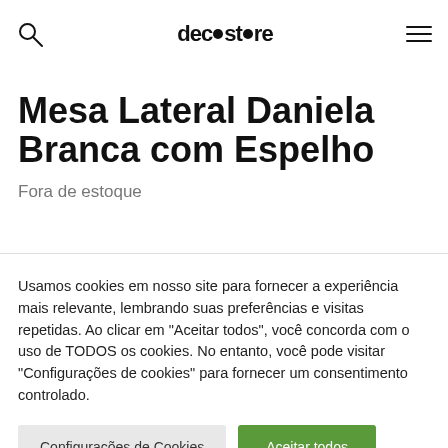deco store
Mesa Lateral Daniela Branca com Espelho
Fora de estoque
Usamos cookies em nosso site para fornecer a experiência mais relevante, lembrando suas preferências e visitas repetidas. Ao clicar em "Aceitar todos", você concorda com o uso de TODOS os cookies. No entanto, você pode visitar "Configurações de cookies" para fornecer um consentimento controlado.
Configurações de Cookies | Aceitar todos